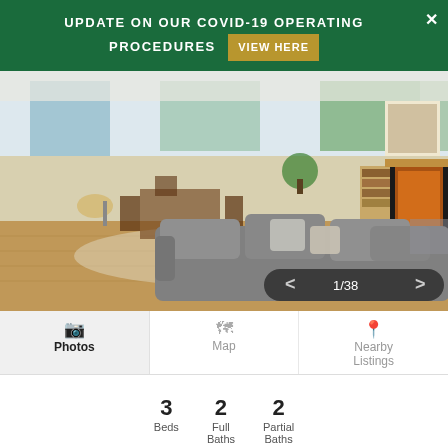UPDATE ON OUR COVID-19 OPERATING PROCEDURES VIEW HERE
[Figure (photo): Interior living room photo showing large sectional gray sofa, hardwood floors, tall windows, dining area, bookshelf, and fireplace. Photo counter shows 1/38.]
Photos | Map | Nearby Listings
3 Beds  2 Full Baths  2 Partial Baths
Share This